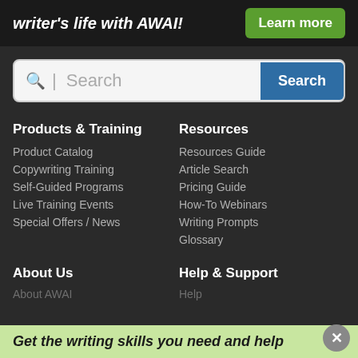writer's life with AWAI!  Learn more
[Figure (screenshot): Search bar with magnifying glass icon, placeholder text 'Search', and blue Search button]
Products & Training
Product Catalog
Copywriting Training
Self-Guided Programs
Live Training Events
Special Offers / News
Resources
Resources Guide
Article Search
Pricing Guide
How-To Webinars
Writing Prompts
Glossary
About Us
About AWAI
Help & Support
Help
Get the writing skills you need and help